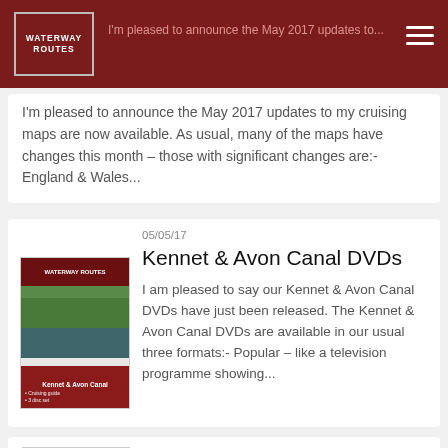Waterway Routes
I'm pleased to announce the May 2017 updates to my cruising maps are now available. As usual, many of the maps have changes this month – those with significant changes are:- England & Wales...
05/05/17
Kennet & Avon Canal DVDs
I am pleased to say our Kennet & Avon Canal DVDs have just been released. The Kennet & Avon Canal DVDs are available in our usual three formats:- Popular – like a television programme showing...
04/05/17
Green Padlock, HTTPS and SSL